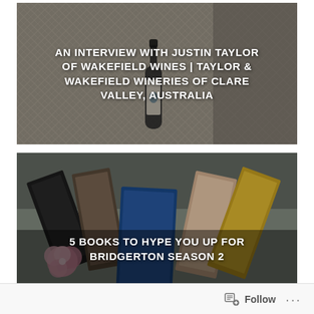[Figure (photo): Wine bottle on a grey patterned textile blanket/fabric background with overlay text]
AN INTERVIEW WITH JUSTIN TAYLOR OF WAKEFIELD WINES | TAYLOR & WAKEFIELD WINERIES OF CLARE VALLEY, AUSTRALIA
[Figure (photo): Multiple romance novel books spread out on a grey cloth/blanket with pink flowers, overlay text]
5 BOOKS TO HYPE YOU UP FOR BRIDGERTON SEASON 2
Follow ···